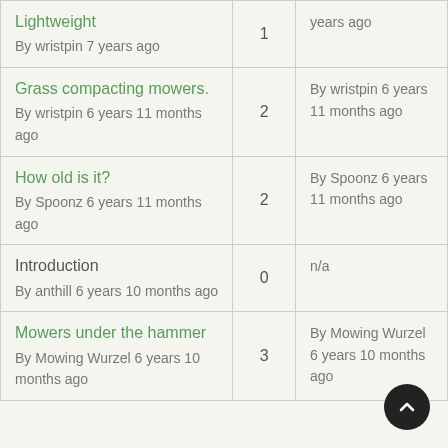| Topic | Replies | Last Reply |
| --- | --- | --- |
| Lightweight
By wristpin 7 years ago | 1 | years ago |
| Grass compacting mowers.
By wristpin 6 years 11 months ago | 2 | By wristpin 6 years 11 months ago |
| How old is it?
By Spoonz 6 years 11 months ago | 2 | By Spoonz 6 years 11 months ago |
| Introduction
By anthill 6 years 10 months ago | 0 | n/a |
| Mowers under the hammer
By Mowing Wurzel 6 years 10 months ago | 3 | By Mowing Wurzel 6 years 10 months ago |